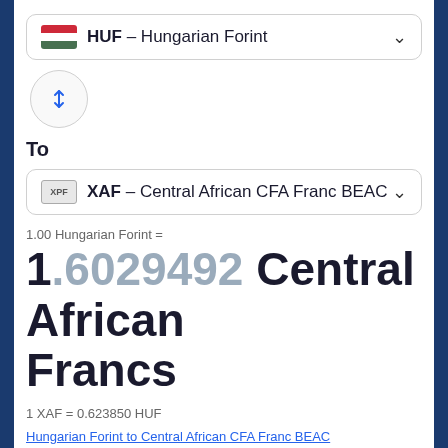[Figure (screenshot): Currency converter UI showing HUF to XAF conversion with dropdown selectors, swap button, and exchange rate result]
HUF – Hungarian Forint
To
XAF – Central African CFA Franc BEAC
1.00 Hungarian Forint =
1.6029492 Central African Francs
1 XAF = 0.623850 HUF
Hungarian Forint to Central African CFA Franc BEAC